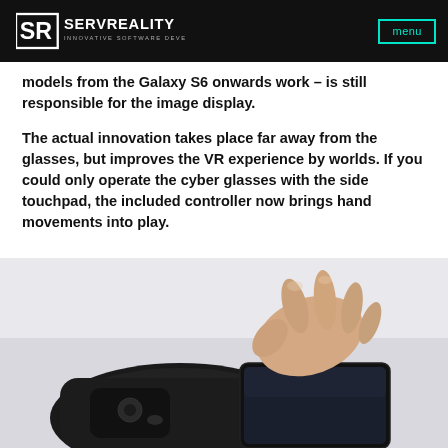SERVREALITY — INNOVATIVE SOFTWARE DEVELOPMENT | menu
models from the Galaxy S6 onwards work – is still responsible for the image display.
The actual innovation takes place far away from the glasses, but improves the VR experience by worlds. If you could only operate the cyber glasses with the side touchpad, the included controller now brings hand movements into play.
[Figure (photo): A hand interacting with a Samsung Gear VR headset controller/touchpad, showing a close-up of fingers touching the side of the VR device with a smartphone screen visible.]